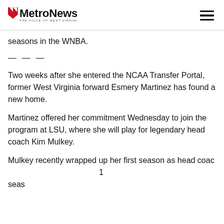MetroNews — THE VOICE OF WEST VIRGINIA
seasons in the WNBA.
— — —
Two weeks after she entered the NCAA Transfer Portal, former West Virginia forward Esmery Martinez has found a new home.
Martinez offered her commitment Wednesday to join the program at LSU, where she will play for legendary head coach Kim Mulkey.
Mulkey recently wrapped up her first season as head coac[h...] 1 seas[on...]